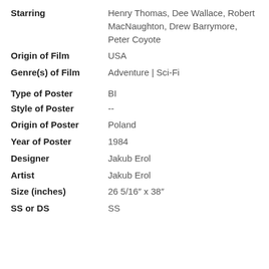| Field | Value |
| --- | --- |
| Starring | Henry Thomas, Dee Wallace, Robert MacNaughton, Drew Barrymore, Peter Coyote |
| Origin of Film | USA |
| Genre(s) of Film | Adventure | Sci-Fi |
| Type of Poster | BI |
| Style of Poster | -- |
| Origin of Poster | Poland |
| Year of Poster | 1984 |
| Designer | Jakub Erol |
| Artist | Jakub Erol |
| Size (inches) | 26 5/16" x 38" |
| SS or DS | SS |